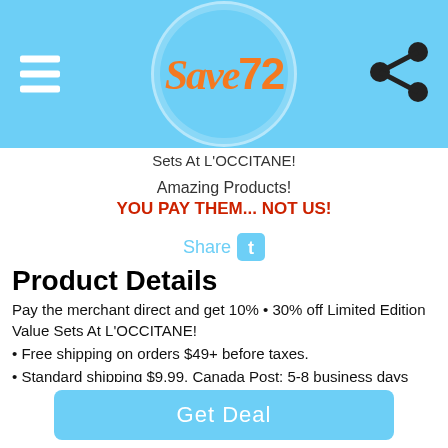[Figure (logo): Save72 logo on light blue circular background with hamburger menu icon on left and share icon on right]
Sets At L'OCCITANE!
Amazing Products!
YOU PAY THEM... NOT US!
Share
Product Details
Pay the merchant direct and get 10% • 30% off Limited Edition Value Sets At L'OCCITANE!
• Free shipping on orders $49+ before taxes.
• Standard shipping $9.99, Canada Post: 5-8 business days
• XpressPost shipping $15.99, Canada Post: 5-3 business days(no Hazmats)
• Priority shipping $21.99, Canada Post: 3-2 business days (no Hazmats)